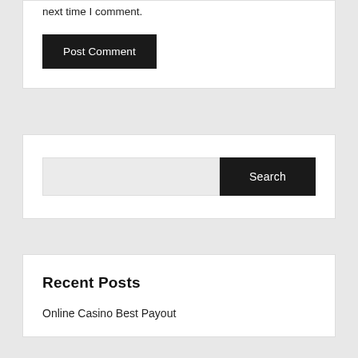next time I comment.
Post Comment
Search
Recent Posts
Online Casino Best Payout